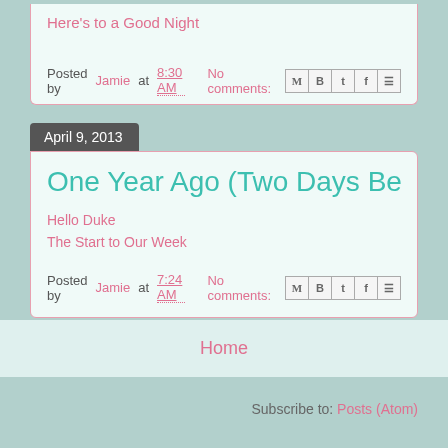Here's to a Good Night
Posted by Jamie at 8:30 AM   No comments:
April 9, 2013
One Year Ago (Two Days Before Brain...
Hello Duke
The Start to Our Week
Posted by Jamie at 7:24 AM   No comments:
Home
Subscribe to: Posts (Atom)